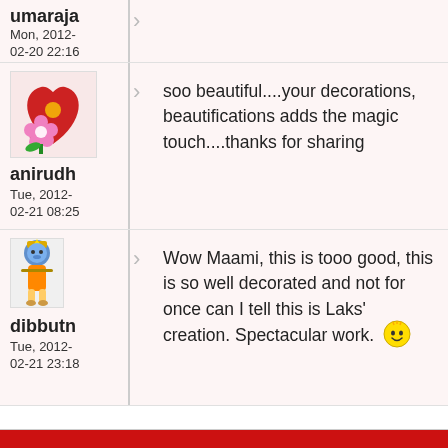umaraja
Mon, 2012-02-20 22:16
[Figure (illustration): Red heart with pink flower avatar image]
soo beautiful....your decorations, beautifications adds the magic touch....thanks for sharing
anirudh
Tue, 2012-02-21 08:25
[Figure (illustration): Small Krishna figure avatar image]
Wow Maami, this is tooo good, this is so well decorated and not for once can I tell this is Laks' creation. Spectacular work. 😊
dibbutn
Tue, 2012-02-21 23:18